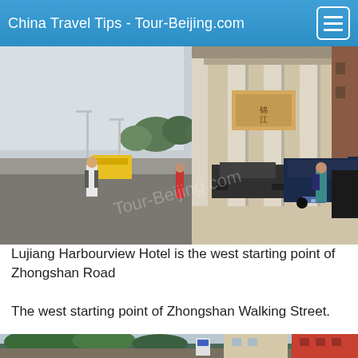China Travel Tips - Tour-Beijing.com
[Figure (photo): Street view of Lujiang Harbourview Hotel with large stone columns, people walking on sidewalk, vehicles parked on road, trees in background]
Lujiang Harbourview Hotel is the west starting point of Zhongshan Road
The west starting point of Zhongshan Walking Street.
[Figure (photo): Partial view of a street with trees and buildings visible]